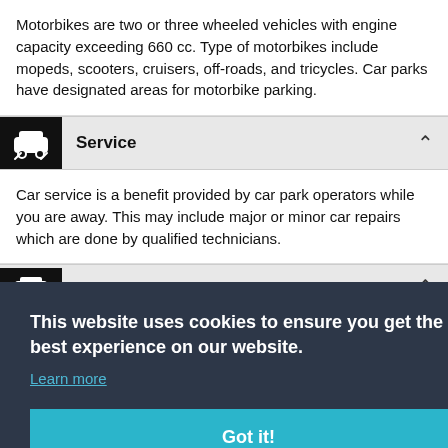Motorbikes are two or three wheeled vehicles with engine capacity exceeding 660 cc. Type of motorbikes include mopeds, scooters, cruisers, off-roads, and tricycles. Car parks have designated areas for motorbike parking.
Service
Car service is a benefit provided by car park operators while you are away. This may include major or minor car repairs which are done by qualified technicians.
(partially visible section)
This website uses cookies to ensure you get the best experience on our website.
Learn more
Got it!
...involves ...sively.
(partially visible section)
airport. The shuttle buses are equipped with extra luggage space for its passengers. We provide regular shuttle bus services or an on-